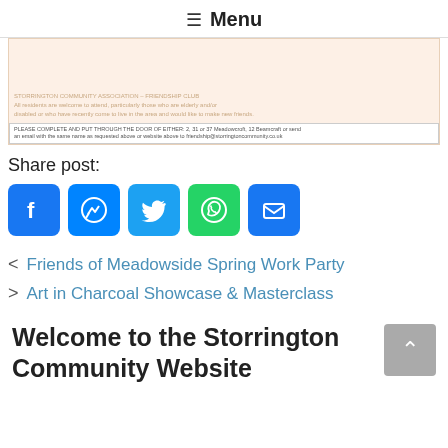≡ Menu
[Figure (other): Partially visible pink/cream colored document or flyer image with faded text overlay and a small text bar at the bottom reading instructions to complete and put through the door.]
Share post:
[Figure (infographic): Row of social media share icons: Facebook (blue), Messenger (blue), Twitter (blue), WhatsApp (green), Email (blue)]
< Friends of Meadowside Spring Work Party
> Art in Charcoal Showcase & Masterclass
Welcome to the Storrington Community Website